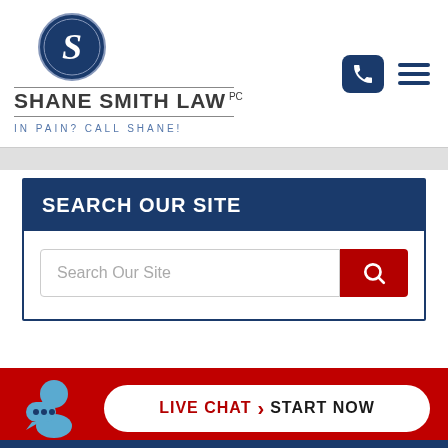[Figure (logo): Shane Smith Law PC logo with circular emblem containing stylized S letter on dark navy background, firm name, and tagline IN PAIN? CALL SHANE!]
SEARCH OUR SITE
Search Our Site
LIVE CHAT > START NOW